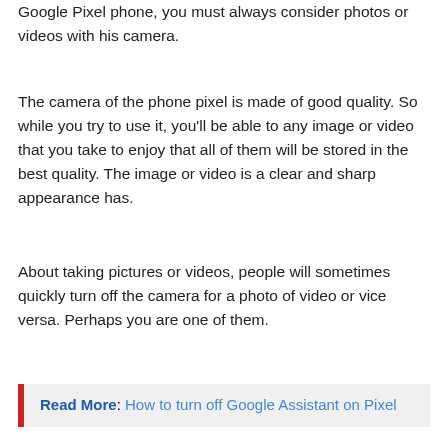Google Pixel phone, you must always consider photos or videos with his camera.
The camera of the phone pixel is made of good quality. So while you try to use it, you'll be able to any image or video that you take to enjoy that all of them will be stored in the best quality. The image or video is a clear and sharp appearance has.
About taking pictures or videos, people will sometimes quickly turn off the camera for a photo of video or vice versa. Perhaps you are one of them.
Read More: How to turn off Google Assistant on Pixel